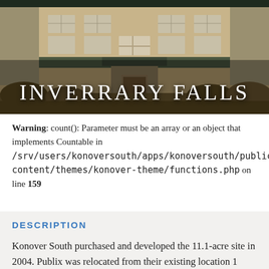[Figure (photo): Exterior photo of Inverrary Falls apartment/commercial building at night, showing a multi-story beige building with windows and a central entrance canopy. The title 'INVERRARY FALLS' appears overlaid in white serif letters at the bottom of the image.]
INVERRARY FALLS
Warning: count(): Parameter must be an array or an object that implements Countable in /srv/users/konoversouth/apps/konoversouth/public/wp-content/themes/konover-theme/functions.php on line 159
DESCRIPTION
Konover South purchased and developed the 11.1-acre site in 2004. Publix was relocated from their existing location 1 mile to the East from another Konover owned property. Located on the busy Oakland Park